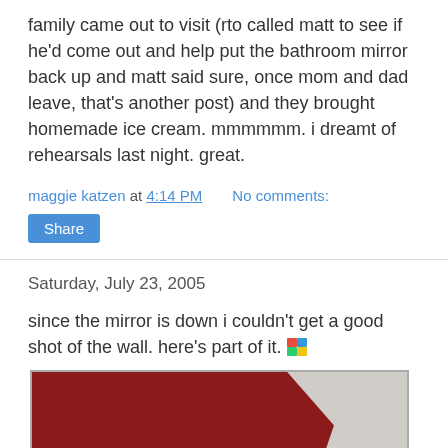family came out to visit (rto called matt to see if he'd come out and help put the bathroom mirror back up and matt said sure, once mom and dad leave, that's another post) and they brought homemade ice cream. mmmmmm. i dreamt of rehearsals last night. great.
maggie katzen at 4:14 PM   No comments:
Share
Saturday, July 23, 2005
since the mirror is down i couldn't get a good shot of the wall. here's part of it.
[Figure (photo): Partial view of a bathroom wall painted dark red/maroon, with white/grey tile or upper wall visible in the upper right corner.]